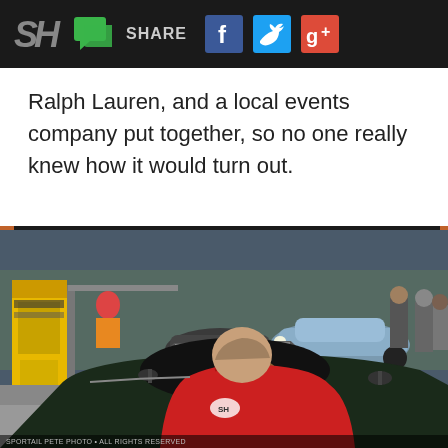SH | SHARE [Facebook] [Twitter] [Google+]
Ralph Lauren, and a local events company put together, so no one really knew how it would turn out.
[Figure (photo): Rear view of a man in a red jacket driving a vintage open-top sports car (dark green), with a classic blue car visible ahead and a yellow parking/toll booth structure on the left side. Street scene with spectators in the background.]
SPORTAIL PETE ... [photographer credit]